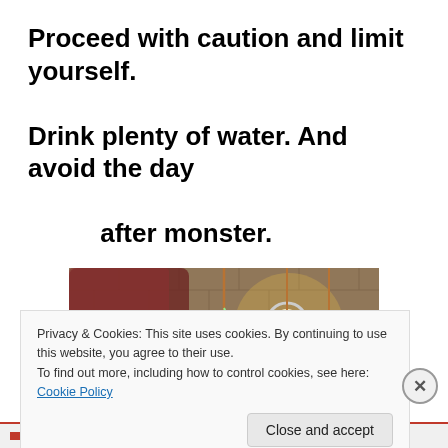Proceed with caution and limit yourself. Drink plenty of water. And avoid the day after monster.
[Figure (photo): Indoor scene with hanging decorations, copper rods/chimes, a lit bulb lamp, and brick wall background with colorful hanging ornaments.]
Privacy & Cookies: This site uses cookies. By continuing to use this website, you agree to their use.
To find out more, including how to control cookies, see here: Cookie Policy
Close and accept